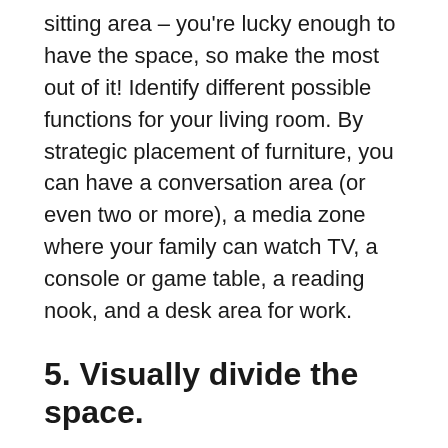sitting area – you're lucky enough to have the space, so make the most out of it! Identify different possible functions for your living room. By strategic placement of furniture, you can have a conversation area (or even two or more), a media zone where your family can watch TV, a console or game table, a reading nook, and a desk area for work.
5. Visually divide the space.
Now, in defining your zones, you don't only strategically place furniture. Break up the space with dividers. Rugs really help in defining your zones in terms of floor space, and wallpapers in terms of wall space. You may use dividers like a panel divider, half